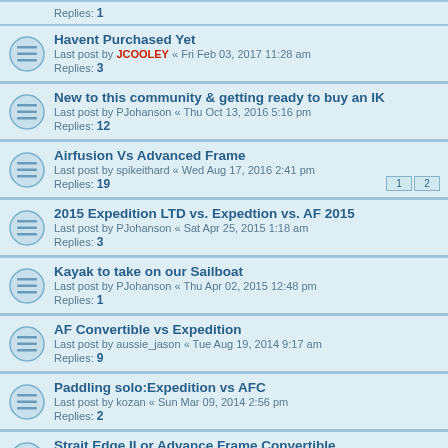Replies: 1
Havent Purchased Yet
Last post by JCOOLEY « Fri Feb 03, 2017 11:28 am
Replies: 3
New to this community & getting ready to buy an IK
Last post by PJohanson « Thu Oct 13, 2016 5:16 pm
Replies: 12
Airfusion Vs Advanced Frame
Last post by spikeithard « Wed Aug 17, 2016 2:41 pm
Replies: 19
2015 Expedition LTD vs. Expedtion vs. AF 2015
Last post by PJohanson « Sat Apr 25, 2015 1:18 am
Replies: 3
Kayak to take on our Sailboat
Last post by PJohanson « Thu Apr 02, 2015 12:48 pm
Replies: 1
AF Convertible vs Expedition
Last post by aussie_jason « Tue Aug 19, 2014 9:17 am
Replies: 9
Paddling solo:Expedition vs AFC
Last post by kozan « Sun Mar 09, 2014 2:56 pm
Replies: 2
Strait Edge II or Advance Frame Convertible.
Last post by PJohanson « Sun Nov 10, 2013 5:24 pm
Replies: 3
newbie...coastal waters...lakes....Expedition or?
Last post by PJohanson « Thu Aug 22, 2013 8:53 am